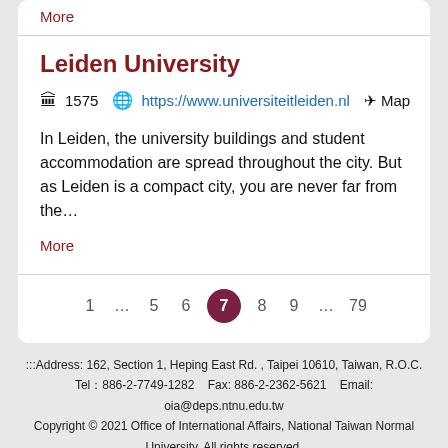More
Leiden University
🏛 1575  🌐 https://www.universiteitleiden.nl  ✈ Map
In Leiden, the university buildings and student accommodation are spread throughout the city. But as Leiden is a compact city, you are never far from the…
More
1 … 5 6 7 8 9 … 79
:::Address: 162, Section 1, Heping East Rd. , Taipei 10610, Taiwan, R.O.C.
Tel：886-2-7749-1282    Fax: 886-2-2362-5621    Email: oia@deps.ntnu.edu.tw
Copyright © 2021 Office of International Affairs, National Taiwan Normal University. All rights reserved.